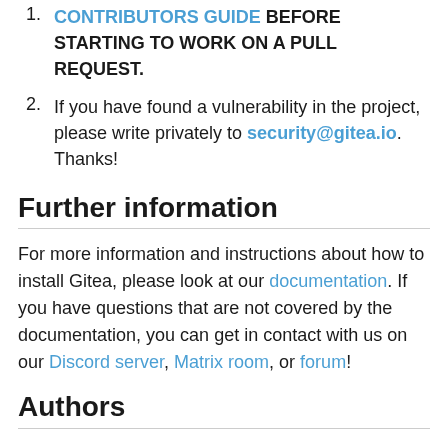CONTRIBUTORS GUIDE BEFORE STARTING TO WORK ON A PULL REQUEST.
If you have found a vulnerability in the project, please write privately to security@gitea.io. Thanks!
Further information
For more information and instructions about how to install Gitea, please look at our documentation. If you have questions that are not covered by the documentation, you can get in contact with us on our Discord server, Matrix room, or forum!
Authors